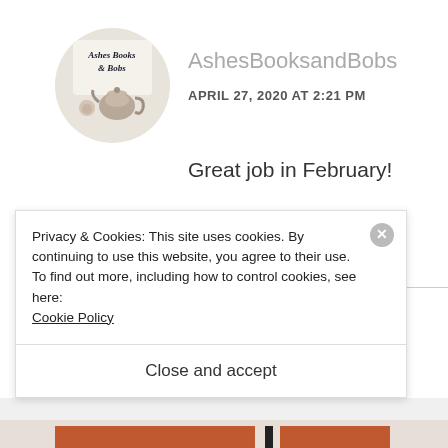[Figure (logo): Circular avatar logo for Ashes Books & Bobs, showing decorative text and a teapot illustration on light background]
AshesBooksandBobs
APRIL 27, 2020 AT 2:21 PM
Great job in February!
★ Liked by 1 person
REPLY
Privacy & Cookies: This site uses cookies. By continuing to use this website, you agree to their use.
To find out more, including how to control cookies, see here:
Cookie Policy
Close and accept